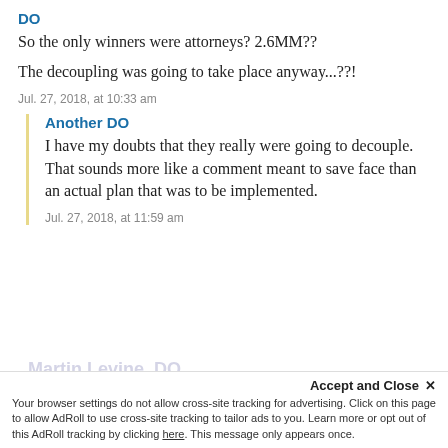DO
So the only winners were attorneys? 2.6MM??
The decoupling was going to take place anyway...??!
Jul. 27, 2018, at 10:33 am
Another DO
I have my doubts that they really were going to decouple. That sounds more like a comment meant to save face than an actual plan that was to be implemented.
Jul. 27, 2018, at 11:59 am
Accept and Close ×
Your browser settings do not allow cross-site tracking for advertising. Click on this page to allow AdRoll to use cross-site tracking to tailor ads to you. Learn more or opt out of this AdRoll tracking by clicking here. This message only appears once.